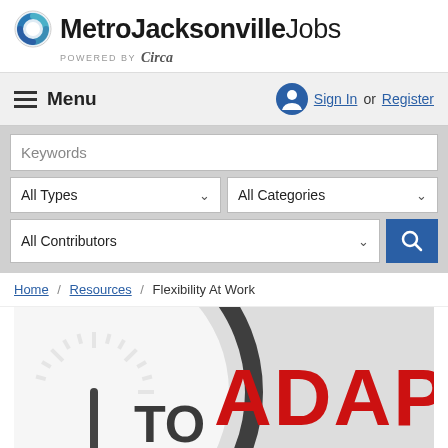MetroJacksonvilleJobs – POWERED BY Circa
MetroJacksonvilleJobs
POWERED BY Circa
Menu
Sign In or Register
Keywords
All Types
All Categories
All Contributors
Home / Resources / Flexibility At Work
[Figure (photo): Close-up of a clock face with bold red text reading 'ADAPT' and black text 'TO', depicting a concept of adapting to flexible work schedules.]